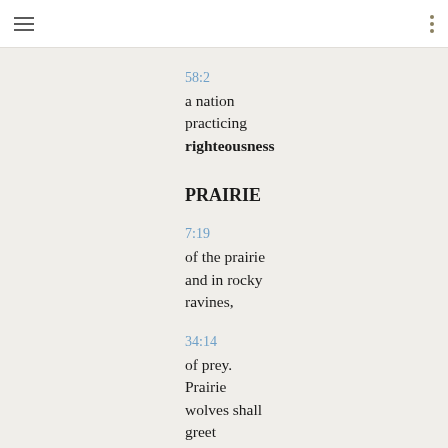58:2
a nation practicing righteousness
PRAIRIE
7:19
of the prairie and in rocky ravines,
34:14
of prey. Prairie wolves shall greet
PRAISE
13:1